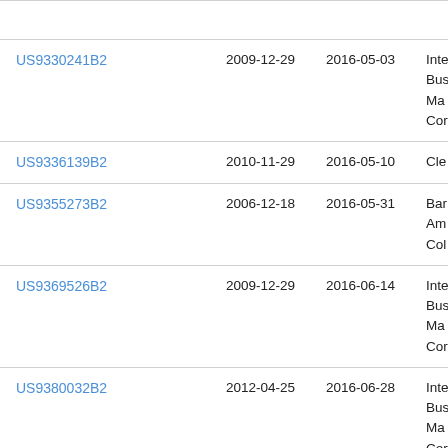| Patent | Filed | Published | Assignee |
| --- | --- | --- | --- |
| US9330241B2 | 2009-12-29 | 2016-05-03 | Inte
Bus
Ma
Cor |
| US9336139B2 | 2010-11-29 | 2016-05-10 | Cle |
| US9355273B2 | 2006-12-18 | 2016-05-31 | Bar
Am
Col |
| US9369526B2 | 2009-12-29 | 2016-06-14 | Inte
Bus
Ma
Cor |
| US9380032B2 | 2012-04-25 | 2016-06-28 | Inte
Bus
Ma
Cor |